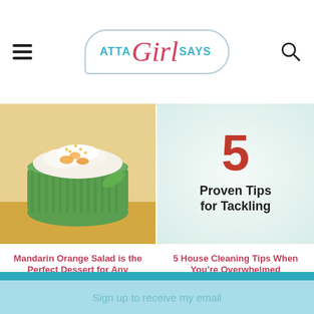Atta Girl Says
[Figure (photo): Green ramekin bowl with mandarin orange salad topped with whipped cream and orange zest]
[Figure (photo): Text overlay reading '5 Proven Tips for Tackling' on light green background]
Mandarin Orange Salad is the Perfect Dessert for Any Occasion
5 House Cleaning Tips When You’re Overwhelmed
Sign up to receive my email